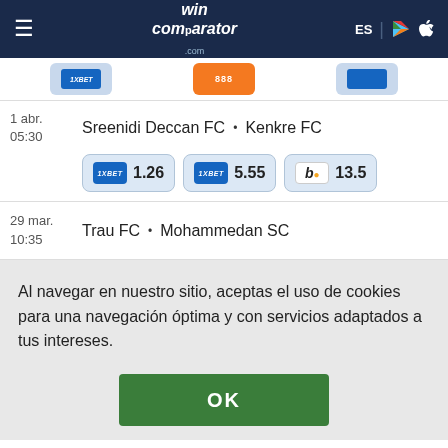wincomparator.com — ES
[Figure (screenshot): Partial view of bookmaker logo boxes (1xBet blue, bet365 orange, another blue)]
1 abr. 05:30  Sreenidi Deccan FC • Kenkre FC  | 1.26  5.55  13.5
29 mar. 10:35  Trau FC • Mohammedan SC
Al navegar en nuestro sitio, aceptas el uso de cookies para una navegación óptima y con servicios adaptados a tus intereses.
OK